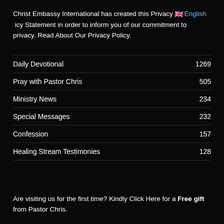Christ Embassy International has created this Privacy Policy Statement in order to inform you of our commitment to privacy. Read About Our Privacy Policy.
Daily Devotional 1269
Pray with Pastor Chris 505
Ministry News 234
Special Messages 232
Confession 157
Healing Stream Testimonies 128
Are visiting us for the first time? Kindly Click Here for a Free gift from Pastor Chris.